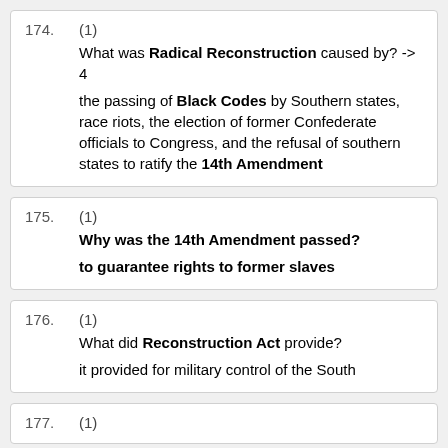174. (1) What was Radical Reconstruction caused by? -> 4
the passing of Black Codes by Southern states, race riots, the election of former Confederate officials to Congress, and the refusal of southern states to ratify the 14th Amendment
175. (1) Why was the 14th Amendment passed?
to guarantee rights to former slaves
176. (1) What did Reconstruction Act provide?
it provided for military control of the South
177. (1)